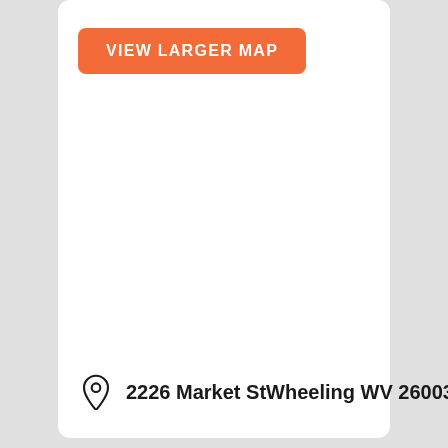[Figure (other): Orange rounded button labeled VIEW LARGER MAP]
2226 Market StWheeling WV 26003